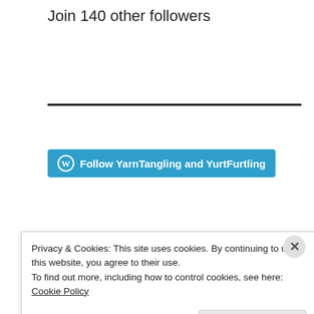Join 140 other followers
[Figure (other): Horizontal rule divider]
[Figure (other): WordPress Follow button: Follow YarnTangling and YurtFurtling]
[Figure (other): Horizontal rule divider]
[Figure (photo): Two side-by-side photos: left shows colorful crocheted circular items, right shows a room with wooden poles and crocheted items]
Privacy & Cookies: This site uses cookies. By continuing to use this website, you agree to their use.
To find out more, including how to control cookies, see here: Cookie Policy
Close and accept